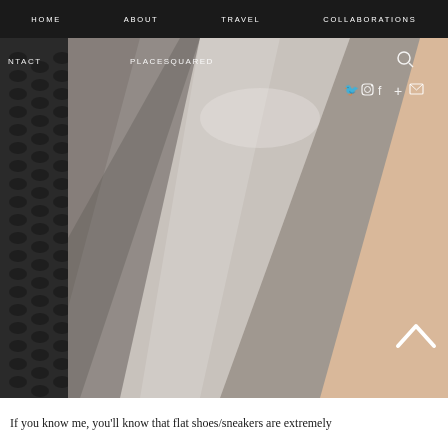HOME   ABOUT   TRAVEL   COLLABORATIONS
[Figure (photo): Close-up photo of a shoe or sneaker with metallic silver fabric/material and textured dark mesh side, against a skin/peach background. Partially cropped with nav overlay text reading NTACT and PLACESQUARED and social icons.]
If you know me, you'll know that flat shoes/sneakers are extremely